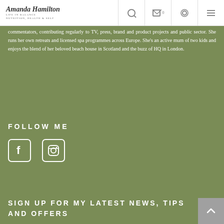Amanda Hamilton — Life in Balance, Nutrition, Health & Self
commentators, contributing regularly to TV, press, brand and product projects and public sector. She runs her own retreats and licensed spa programmes across Europe. She's an active mum of two kids and enjoys the blend of her beloved beach house in Scotland and the buzz of HQ in London.
FOLLOW ME
[Figure (illustration): Facebook icon — square rounded border with 'f' letter inside]
[Figure (illustration): Instagram icon — square rounded border with camera symbol inside]
SIGN UP FOR MY LATEST NEWS, TIPS AND OFFERS